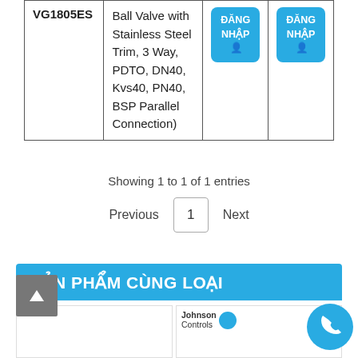|  | Description |  |  |
| --- | --- | --- | --- |
| VG1805ES | Ball Valve with Stainless Steel Trim, 3 Way, PDTO, DN40, Kvs40, PN40, BSP Parallel Connection) | ĐĂNG NHẬP | ĐĂNG NHẬP |
Showing 1 to 1 of 1 entries
Previous  1  Next
SẢN PHẨM CÙNG LOẠI